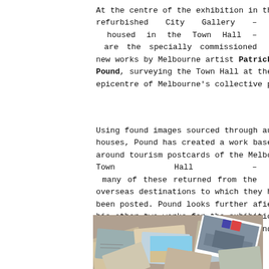At the centre of the exhibition in the refurbished City Gallery – housed in the Town Hall – are the specially commissioned new works by Melbourne artist Patrick Pound, surveying the Town Hall at the epicentre of Melbourne's collective psyche.
Using found images sourced through auction houses, Pound has created a work based around tourism postcards of the Melbourne Town Hall – many of these returned from the overseas destinations to which they had been posted. Pound looks further afield with his other two works for the exhibition – exploring town halls of Australia and from around the world.
[Figure (photo): A pile of postcards scattered on a surface, featuring images of buildings and town halls. Some postcards show blue skies and architecture. A white-bordered postcard is visible near the center.]